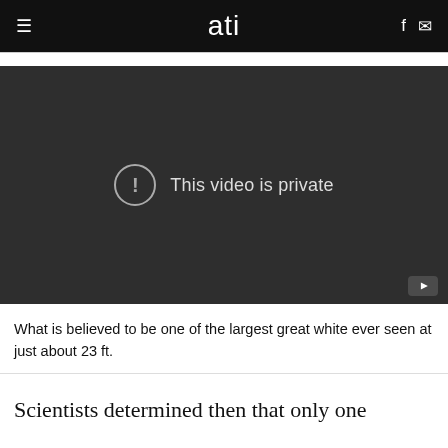≡  ati  f ✉
[Figure (screenshot): Embedded video player showing 'This video is private' message with exclamation icon on dark background]
What is believed to be one of the largest great white ever seen at just about 23 ft.
Scientists determined then that only one